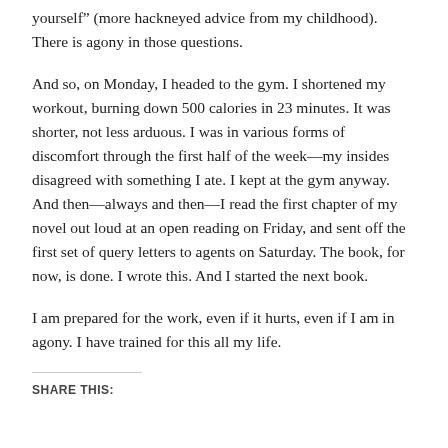yourself” (more hackneyed advice from my childhood). There is agony in those questions.
And so, on Monday, I headed to the gym. I shortened my workout, burning down 500 calories in 23 minutes. It was shorter, not less arduous. I was in various forms of discomfort through the first half of the week—my insides disagreed with something I ate. I kept at the gym anyway. And then—always and then—I read the first chapter of my novel out loud at an open reading on Friday, and sent off the first set of query letters to agents on Saturday. The book, for now, is done. I wrote this. And I started the next book.
I am prepared for the work, even if it hurts, even if I am in agony. I have trained for this all my life.
SHARE THIS: